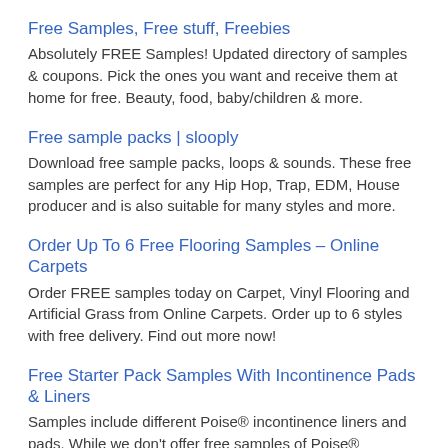Free Samples, Free stuff, Freebies
Absolutely FREE Samples! Updated directory of samples & coupons. Pick the ones you want and receive them at home for free. Beauty, food, baby/children & more.
Free sample packs | slooply
Download free sample packs, loops & sounds. These free samples are perfect for any Hip Hop, Trap, EDM, House producer and is also suitable for many styles and more.
Order Up To 6 Free Flooring Samples – Online Carpets
Order FREE samples today on Carpet, Vinyl Flooring and Artificial Grass from Online Carpets. Order up to 6 styles with free delivery. Find out more now!
Free Starter Pack Samples With Incontinence Pads & Liners
Samples include different Poise® incontinence liners and pads. While we don't offer free samples of Poise®